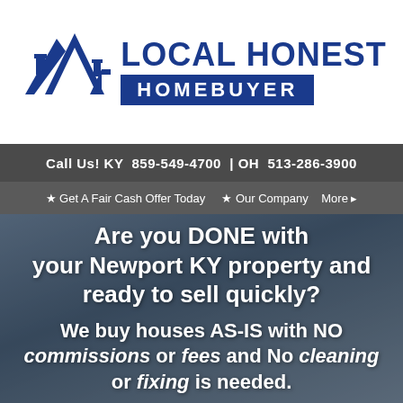[Figure (logo): Local Honest Homebuyer logo with blue rooftop/house icon and company name in blue on white background]
Call Us! KY  859-549-4700  | OH  513-286-3900
★ Get A Fair Cash Offer Today    ★ Our Company    More ▸
Are you DONE with your Newport KY property and ready to sell quickly?
We buy houses AS-IS with NO commissions or fees and No cleaning or fixing is needed.